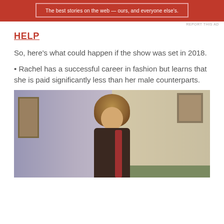[Figure (other): Red banner advertisement: 'The best stories on the web — ours, and everyone else's.']
REPORT THIS AD
HELP
So, here's what could happen if the show was set in 2018.
• Rachel has a successful career in fashion but learns that she is paid significantly less than her male counterparts.
[Figure (photo): A woman with long brown hair wearing a dark shirt with a pink/red strap, looking downward, in what appears to be a TV show set interior with curtains and framed pictures on the wall.]